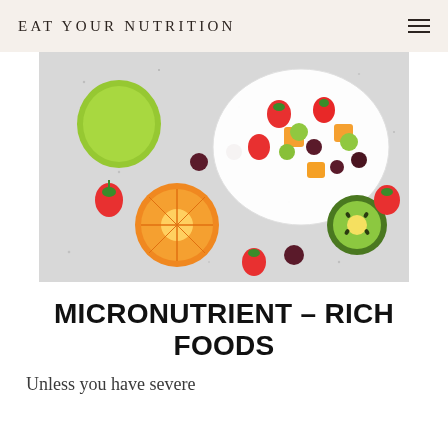EAT YOUR NUTRITION
[Figure (photo): Overhead photo of assorted fresh fruits on a light grey speckled surface including a halved orange, lime, strawberries, dark cherries, a halved kiwi, and a white bowl filled with mixed cut fruit salad including strawberries, grapes, kiwi, and orange pieces.]
MICRONUTRIENT – RICH FOODS
Unless you have severe